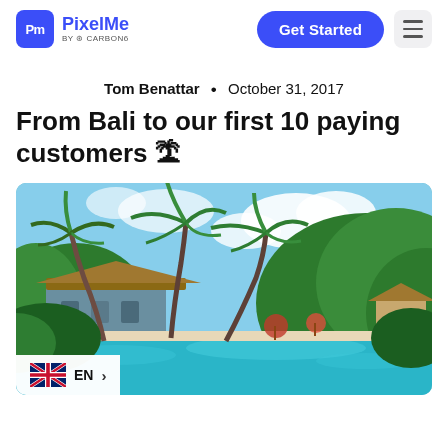PixelMe by Carbon6 — Get Started
Tom Benattar • October 31, 2017
From Bali to our first 10 paying customers 🏝
[Figure (photo): Tropical resort in Bali showing a turquoise infinity pool surrounded by palm trees and lush green jungle, with thatched-roof bungalows and a blue cloudy sky]